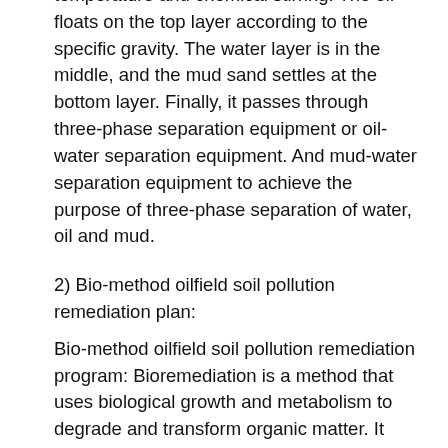temperature and chemical stirring. The oil floats on the top layer according to the specific gravity. The water layer is in the middle, and the mud sand settles at the bottom layer. Finally, it passes through three-phase separation equipment or oil-water separation equipment. And mud-water separation equipment to achieve the purpose of three-phase separation of water, oil and mud.
2) Bio-method oilfield soil pollution remediation plan:
Bio-method oilfield soil pollution remediation program: Bioremediation is a method that uses biological growth and metabolism to degrade and transform organic matter. It has the characteristics of safety, reliability, and low repair costs. This soil pollution remediation plan includes: key processes, remediation preparations, supporting equipment and other core technologies.
3) Physical method of oilfield soil pollution remediation